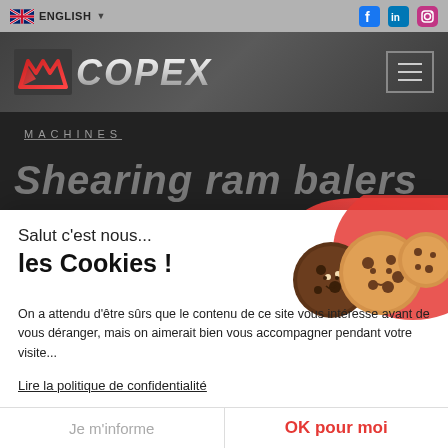ENGLISH
[Figure (logo): COPEX company logo with stylized red/grey icon and italic COPEX text]
MACHINES
Shearing ram balers
Salut c'est nous...
les Cookies !
On a attendu d'être sûrs que le contenu de ce site vous intéresse avant de vous déranger, mais on aimerait bien vous accompagner pendant votre visite...
Lire la politique de confidentialité
Consentements certifiés par axeptio
Je m'informe
OK pour moi